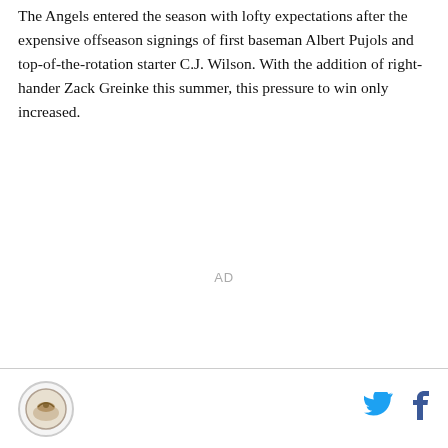The Angels entered the season with lofty expectations after the expensive offseason signings of first baseman Albert Pujols and top-of-the-rotation starter C.J. Wilson. With the addition of right-hander Zack Greinke this summer, this pressure to win only increased.
AD
[logo] [twitter] [facebook]